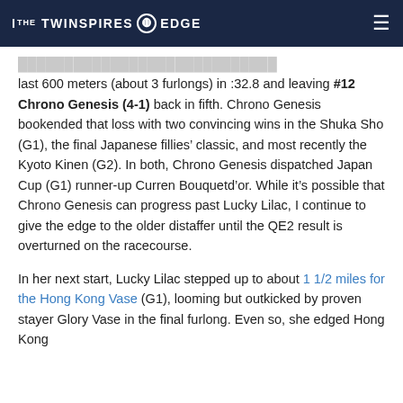THE TWINSPIRES EDGE
last 600 meters (about 3 furlongs) in :32.8 and leaving #12 Chrono Genesis (4-1) back in fifth. Chrono Genesis bookended that loss with two convincing wins in the Shuka Sho (G1), the final Japanese fillies' classic, and most recently the Kyoto Kinen (G2). In both, Chrono Genesis dispatched Japan Cup (G1) runner-up Curren Bouquetd’or. While it’s possible that Chrono Genesis can progress past Lucky Lilac, I continue to give the edge to the older distaffer until the QE2 result is overturned on the racecourse.
In her next start, Lucky Lilac stepped up to about 1 1/2 miles for the Hong Kong Vase (G1), looming but outkicked by proven stayer Glory Vase in the final furlong. Even so, she edged Hong Kong